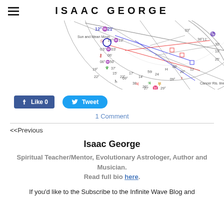ISAAC GEORGE
[Figure (other): Partial astrological natal chart wheel showing planetary symbols, degree numbers, house lines, and aspect lines in multiple colors on white background]
[Figure (other): Facebook Like button showing 'Like 0' and Twitter Tweet button]
1 Comment
<<Previous
Isaac George
Spiritual Teacher/Mentor, Evolutionary Astrologer, Author and Musician.
Read full bio here.
If you'd like to the Subscribe to the Infinite Wave Blog and